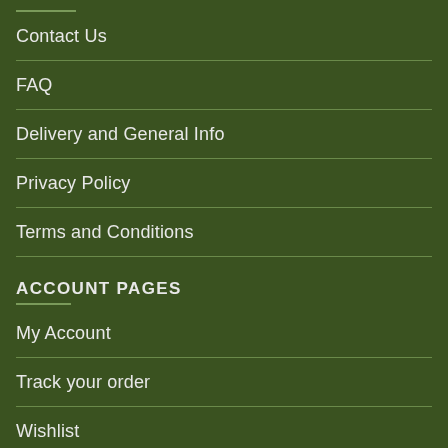Contact Us
FAQ
Delivery and General Info
Privacy Policy
Terms and Conditions
ACCOUNT PAGES
My Account
Track your order
Wishlist
Cart